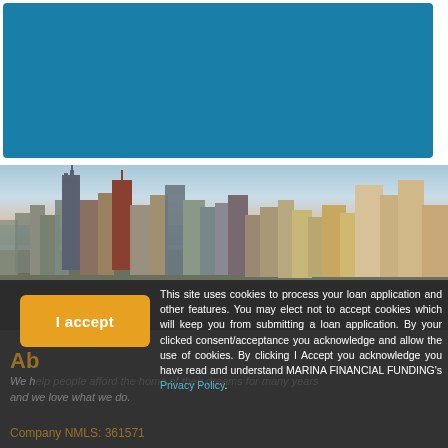[Figure (illustration): Teal/blue rectangular box at the top of the page, representing a header image area for Marina Financial Funding website]
[Figure (photo): Aerial cityscape photo of Chicago skyline with skyscrapers and Lake Michigan in the background, at dusk/sunset with blue and warm tones]
This site uses cookies to process your loan application and other features. You may elect not to accept cookies which will keep you from submitting a loan application. By your clicked consent/acceptance you acknowledge and allow the use of cookies. By clicking I Accept you acknowledge you have read and understand MARINA FINANCIAL FUNDING's Privacy Policy.
About
We help people afford the home of their dreams for many years and we love what we do.
Company NMLS: 361571